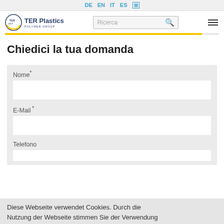DE  EN  IT  ES
[Figure (logo): TER Plastics Polymer Group logo with circular TER GRUP mark and company name]
Chiedici la tua domanda
Nome *
E-Mail *
Telefono
Diese Webseite verwendet Cookies. Durch die Nutzung der Webseite stimmen Sie der Verwendung